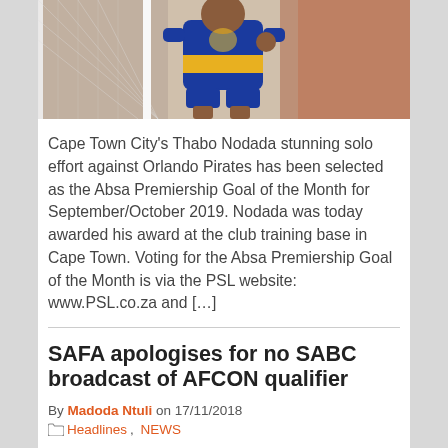[Figure (photo): Soccer player wearing a blue and yellow Cape Town City FC jersey standing near a goal net]
Cape Town City's Thabo Nodada stunning solo effort against Orlando Pirates has been selected as the Absa Premiership Goal of the Month for September/October 2019. Nodada was today awarded his award at the club training base in Cape Town. Voting for the Absa Premiership Goal of the Month is via the PSL website: www.PSL.co.za and […]
SAFA apologises for no SABC broadcast of AFCON qualifier
By Madoda Ntuli on 17/11/2018
Headlines, NEWS